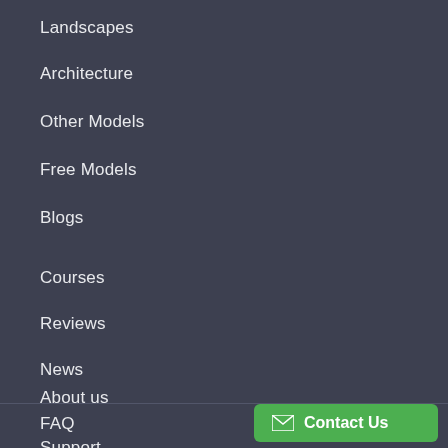Landscapes
Architecture
Other Models
Free Models
Blogs
Courses
Reviews
News
About us
FAQ
Support
Contact Us